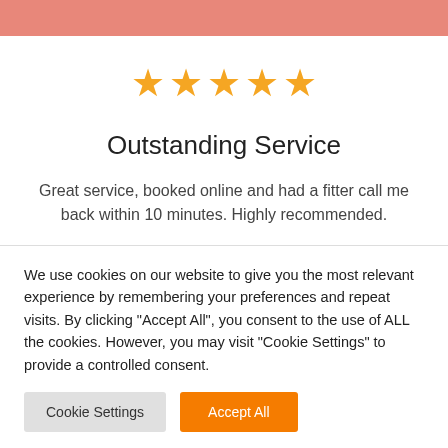[Figure (illustration): Five gold star rating icons displayed in a row]
Outstanding Service
Great service, booked online and had a fitter call me back within 10 minutes. Highly recommended.
We use cookies on our website to give you the most relevant experience by remembering your preferences and repeat visits. By clicking "Accept All", you consent to the use of ALL the cookies. However, you may visit "Cookie Settings" to provide a controlled consent.